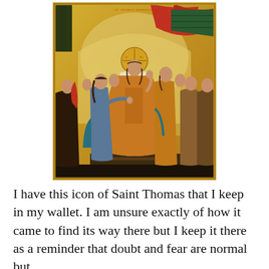[Figure (illustration): A Byzantine-style Orthodox Christian icon depicting Saint Thomas touching the wounds of the risen Christ, surrounded by apostles. Gold background with architectural elements. Small text at top reads 'ST. THOMAS DOMENICA' or similar.]
I have this icon of Saint Thomas that I keep in my wallet. I am unsure exactly of how it came to find its way there but I keep it there as a reminder that doubt and fear are normal but